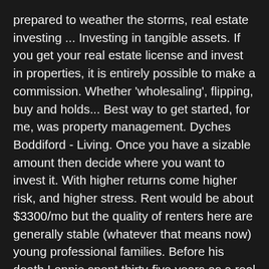prepared to weather the storms, real estate investing ... Investing in tangible assets. If you get your real estate license and invest in properties, it is entirely possible to make a commission. Whether 'wholesaling', flipping, buy and holds... Best way to get started, for me, was property management. Dyches Boddiford - Living. Once you have a sizable amount then decide where you want to invest it. With higher returns come higher risk, and higher stress. Rent would be about $3300/mo but the quality of renters here are generally stable (whatever that means now) young professional families. Before his death Lonnie spent thirty-five years as a real estate investor across various disciplines. This book is a Real Estate Investing "classic" written in the 50's. Connect with 1,000,000+ real estate investors! When you own a piece of property, you ... Cookies help us deliver our Services. A real estate investment trust, or REIT (pronounced reet), is a unique type of company that allows investors to pool their